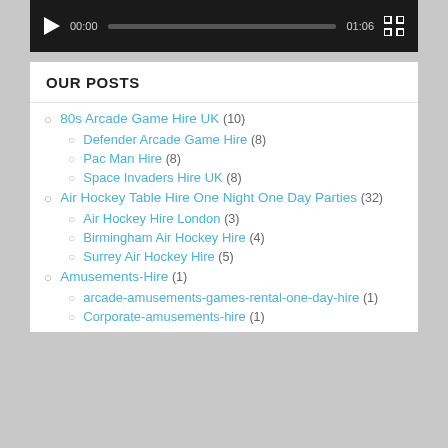[Figure (screenshot): Video player controls bar showing play button, time 00:00, progress bar, time 01:06, and fullscreen button on dark background]
OUR POSTS
80s Arcade Game Hire UK (10)
Defender Arcade Game Hire (8)
Pac Man Hire (8)
Space Invaders Hire UK (8)
Air Hockey Table Hire One Night One Day Parties (32)
Air Hockey Hire London (3)
Birmingham Air Hockey Hire (4)
Surrey Air Hockey Hire (5)
Amusements-Hire (1)
arcade-amusements-games-rental-one-day-hire (1)
Corporate-amusements-hire (1)